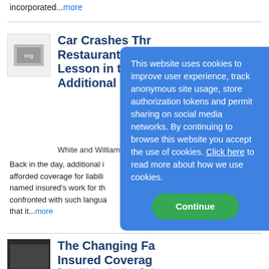incorporated...more
Car Crashes Thr Restaurant Win Lesson in the Hi Additional Insur
White and Williams LLP on
Back in the day, additional i afforded coverage for liabili named insured's work for th confronted with such langua that it...more
The Changing Fa Insured Coverag
Butler Weihmuller Katz Crai
As a coverage attorney, I often find myself representing the liability insurers of both general
This website uses cookies to improve user experience, track anonymous site usage, store authorization tokens and permit sharing on social media networks. By continuing to browse this website you accept the use of cookies. Click here to read more about how we use cookies.
Continue